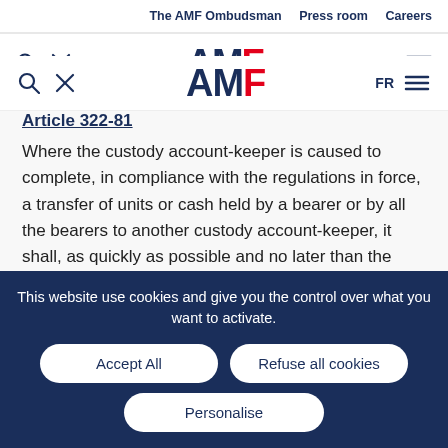The AMF Ombudsman   Press room   Careers
[Figure (logo): AMF logo with search and tools icons, FR language selector and hamburger menu]
Article 322-81
Where the custody account-keeper is caused to complete, in compliance with the regulations in force, a transfer of units or cash held by a bearer or by all the bearers to another custody account-keeper, it shall, as quickly as possible and no later than the time of the transfer to the new custody account-keeper, transfer all
This website use cookies and give you the control over what you want to activate.
Accept All   Refuse all cookies   Personalise